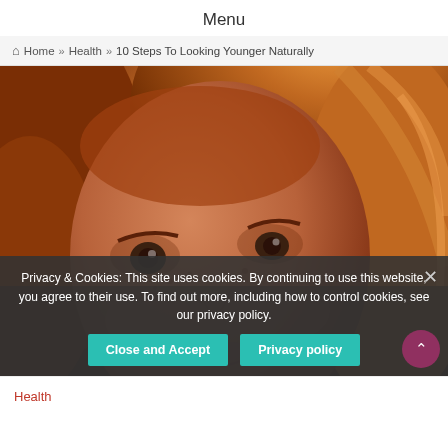Menu
🏠 Home » Health » 10 Steps To Looking Younger Naturally
[Figure (photo): Close-up portrait photo of a young woman with red hair and freckles, lit with warm sunlight from the right side, smiling slightly.]
Privacy & Cookies: This site uses cookies. By continuing to use this website, you agree to their use. To find out more, including how to control cookies, see our privacy policy.
Close and Accept
Privacy policy
Health